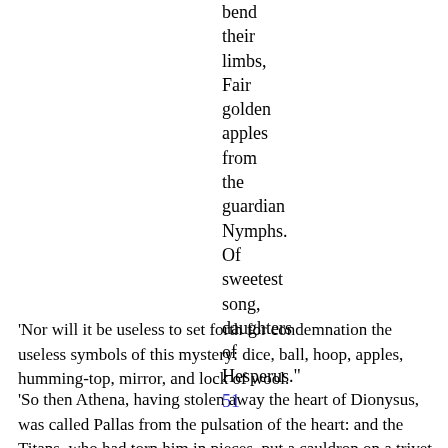bend
their
limbs,
Fair
golden
apples
from
the
guardian
Nymphs.
Of
sweetest
song,
daughters
of
Hesperus."
51
'Nor will it be useless to set forth for condemnation the useless symbols of this mystery: dice, ball, hoop, apples, humming-top, mirror, and lock of wool.
'So then Athena, having stolen away the heart of Dionysus, was called Pallas from the pulsation of the heart: and the Titans, who had torn him in pieces, put a cauldron on a trivet, and threw in the limbs of Dionysus, and, having first boiled them down...